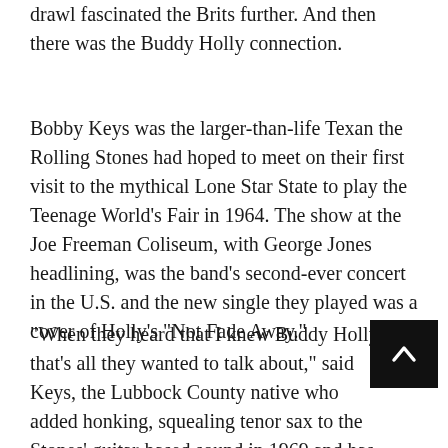drawl fascinated the Brits further. And then there was the Buddy Holly connection.
Bobby Keys was the larger-than-life Texan the Rolling Stones had hoped to meet on their first visit to the mythical Lone Star State to play the Teenage World's Fair in 1964. The show at the Joe Freeman Coliseum, with George Jones headlining, was the band's second-ever concert in the U.S. and the new single they played was a cover of Holly's “Not Fade Away.”
“When they heard that I knew Buddy Holly, that’s all they wanted to talk about,” said Keys, the Lubbock County native who added honking, squealing tenor sax to the Stones’ guitar-based sound in 1969 and has been the group’s most popular sideman ever since. Almost as much as Mick Jagger’s haze-cutting
[Figure (other): Black scroll-to-top button with white upward chevron arrow]